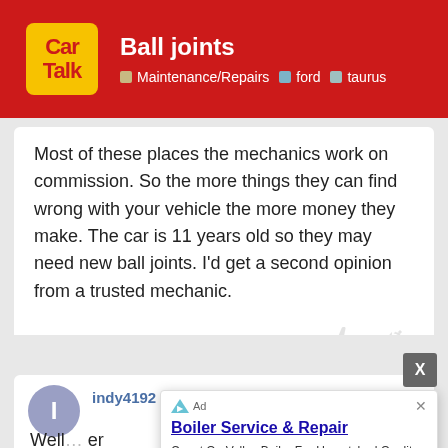Ball joints — Maintenance/Repairs · ford · taurus
Most of these places the mechanics work on commission. So the more things they can find wrong with your vehicle the more money they make. The car is 11 years old so they may need new ball joints. I'd get a second opinion from a trusted mechanic.
indy4192   Dec '09
Well ... er side ... ling repla ... s there ...
[Figure (screenshot): Boiler Service & Repair advertisement overlay with 'Open' button and 'Valley Boiler' source text]